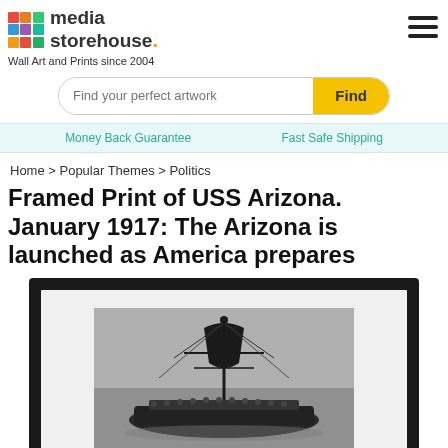media storehouse. Wall Art and Prints since 2004
Find your perfect artwork  Find
Money Back Guarantee    Fast Safe Shipping
Home > Popular Themes > Politics
Framed Print of USS Arizona. January 1917: The Arizona is launched as America prepares
[Figure (photo): Framed print product showing a historical black and white photograph of the USS Arizona battleship, partially cropped, displayed in a dark black frame with white mat border.]